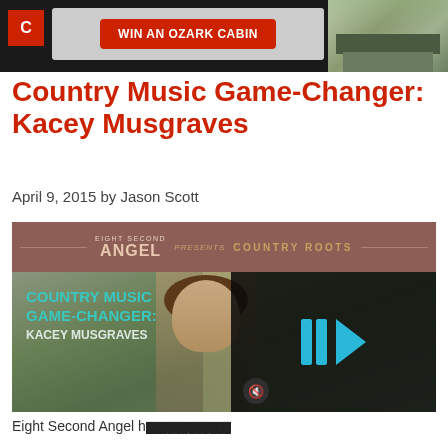[Figure (screenshot): Dark navigation bar with 'WIN AN OZARK CABIN' red advertisement banner and a cabin photo on the right]
Country Music Game-Changer: Kacey Musgraves
April 9, 2015 by Jason Scott
[Figure (screenshot): Eight Second Angel Presents Country Roots banner with background image of Kacey Musgraves and text overlay 'COUNTRY MUSIC GAME-CHANGER: KACEY MUSGRAVES' with a video player overlay showing play icon]
Eight Second Angel h...